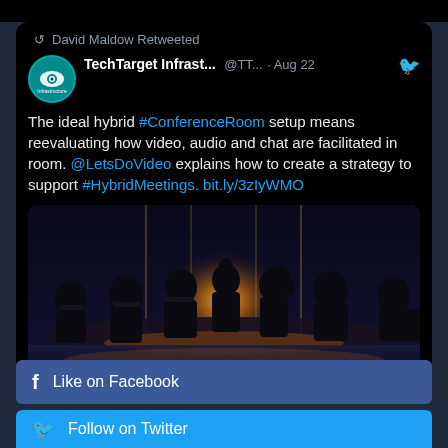David Maldow Retweeted
TechTarget Infrast... @TT... · Aug 22
The ideal hybrid #ConferenceRoom setup means reevaluating how video, audio and chat are facilitated in room. @LetsDoVideo explains how to create a strategy to support #HybridMeetings. bit.ly/3zIyWMO
[Figure (photo): Silhouettes of people sitting around a conference table with bright light coming through windows behind them, reflection visible on the table surface.]
Like on Facebook
Follow on Twitter